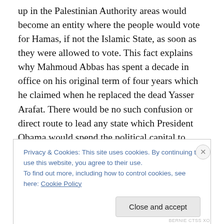up in the Palestinian Authority areas would become an entity where the people would vote for Hamas, if not the Islamic State, as soon as they were allowed to vote. This fact explains why Mahmoud Abbas has spent a decade in office on his original term of four years which he claimed when he replaced the dead Yasser Arafat. There would be no such confusion or direct route to lead any state which President Obama would spend the political capital to present the Arabs because there would be a demand that an election decide who would rule the state.
Privacy & Cookies: This site uses cookies. By continuing to use this website, you agree to their use. To find out more, including how to control cookies, see here: Cookie Policy
Close and accept
BERNIE CTSS XO